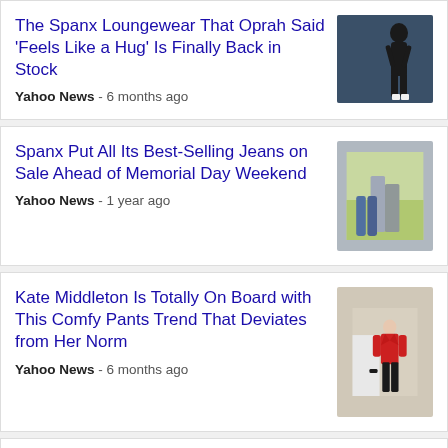The Spanx Loungewear That Oprah Said 'Feels Like a Hug' Is Finally Back in Stock
Yahoo News - 6 months ago
Spanx Put All Its Best-Selling Jeans on Sale Ahead of Memorial Day Weekend
Yahoo News - 1 year ago
Kate Middleton Is Totally On Board with This Comfy Pants Trend That Deviates from Her Norm
Yahoo News - 6 months ago
10% Off with Email Sign Up - 20+ yrs of Sculpting Expertise
www.spanx.com/official/site  Ad
No Matter the Occasion, SPANX® has You Covered. Designed w/ 20 yrs of Sculpting Expertise. Shop Leggings, Bras, Shapewear, and More! Enjoy Free Shipping and Returns. All Sale...